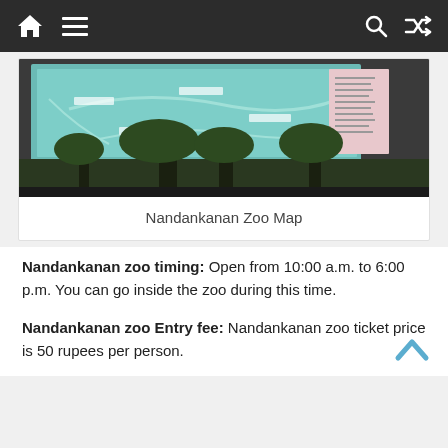Navigation bar with home, menu, search, and shuffle icons
[Figure (photo): A large map board of Nandankanan Zoo displayed on green metal poles, with teal/turquoise illustrated map graphic, surrounded by trees and forest background.]
Nandankanan Zoo Map
Nandankanan zoo timing: Open from 10:00 a.m. to 6:00 p.m. You can go inside the zoo during this time.
Nandankanan zoo Entry fee: Nandankanan zoo ticket price is 50 rupees per person.